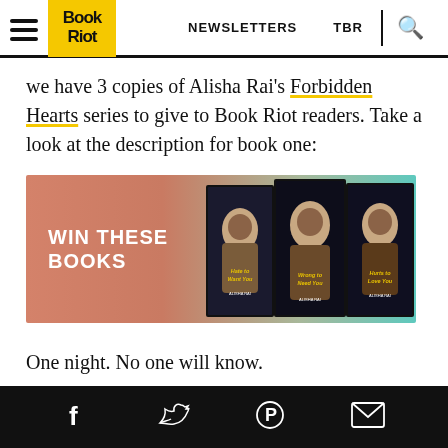Book Riot — NEWSLETTERS   TBR
We have 3 copies of Alisha Rai's Forbidden Hearts series to give to Book Riot readers. Take a look at the description for book one:
[Figure (photo): Book giveaway banner showing three Alisha Rai Forbidden Hearts series books (Hate to Want You, Wrong to Need You, Hurts to Love You) with text 'WIN THESE BOOKS' on a coral-to-teal gradient background.]
One night. No one will know.
Social share icons: Facebook, Twitter, Pinterest, Email